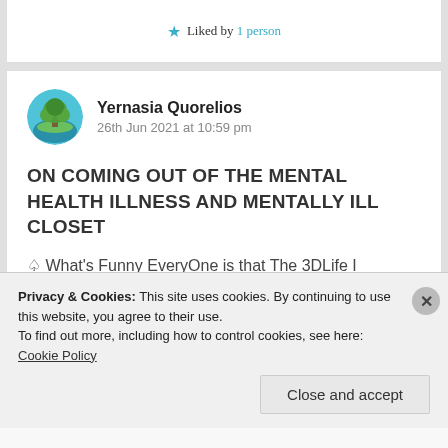★ Liked by 1 person
Yernasia Quorelios
26th Jun 2021 at 10:59 pm
ON COMING OUT OF THE MENTAL HEALTH ILLNESS AND MENTALLY ILL CLOSET
♤ What's Funny EveryOne is that The 3DLife I Consciously Planned with Rigid, Inflexible
Privacy & Cookies: This site uses cookies. By continuing to use this website, you agree to their use.
To find out more, including how to control cookies, see here: Cookie Policy
Close and accept